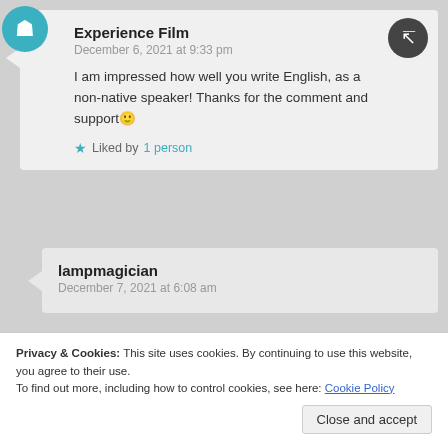Experience Film
December 6, 2021 at 9:33 pm
I am impressed how well you write English, as a non-native speaker! Thanks for the comment and support 🙂
★ Liked by 1 person
lampmagician
December 7, 2021 at 6:08 am
Privacy & Cookies: This site uses cookies. By continuing to use this website, you agree to their use.
To find out more, including how to control cookies, see here: Cookie Policy
Close and accept